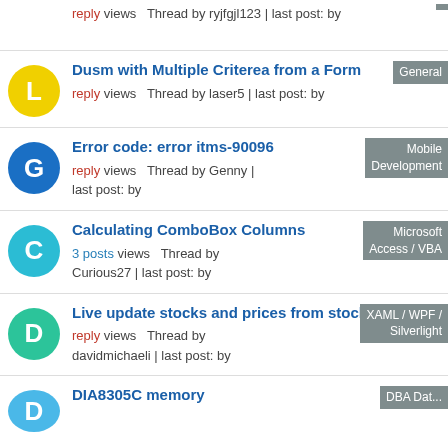reply views Thread by ryjfgjl123 | last post: by
Dusm with Multiple Criterea from a Form — General — reply views Thread by laser5 | last post: by
Error code: error itms-90096 — Mobile Development — reply views Thread by Genny | last post: by
Calculating ComboBox Columns — Microsoft Access / VBA — 3 posts views Thread by Curious27 | last post: by
Live update stocks and prices from stocks markets — XAML / WPF / Silverlight — reply views Thread by davidmichaeli | last post: by
DIA8305C memory — DBA Database